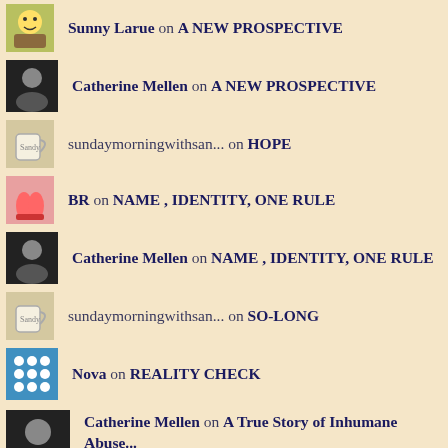Sunny Larue on A NEW PROSPECTIVE
Catherine Mellen on A NEW PROSPECTIVE
sundaymorningwithsan... on HOPE
BR on NAME , IDENTITY, ONE RULE
Catherine Mellen on NAME , IDENTITY, ONE RULE
sundaymorningwithsan... on SO-LONG
Nova on REALITY CHECK
Catherine Mellen on A True Story of Inhumane Abuse...
sundaymorningwithsan... on OFF THE WAGON
Catherine Mellen on OFF THE WAGON
sundaymorningwithsan... on HURT PAIN AND LOSS
Advertisements
[Figure (screenshot): DuckDuckGo advertisement banner: Search, browse, and email with more privacy. All in One Free App]